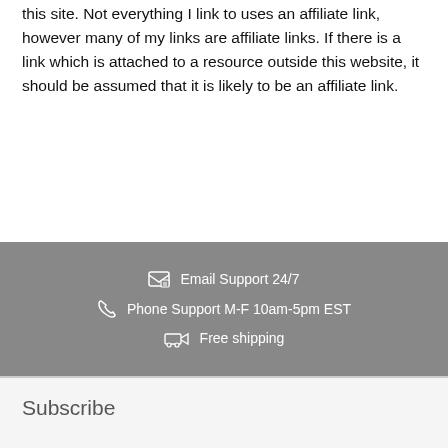this site. Not everything I link to uses an affiliate link, however many of my links are affiliate links. If there is a link which is attached to a resource outside this website, it should be assumed that it is likely to be an affiliate link.
Email Support 24/7
Phone Support M-F 10am-5pm EST
Free shipping
Subscribe